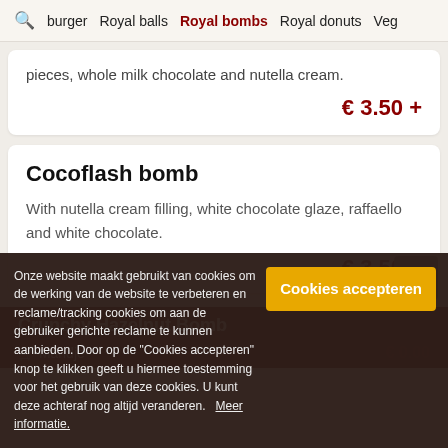burger  Royal balls  Royal bombs  Royal donuts  Veg
pieces, whole milk chocolate and nutella cream.
€ 3.50 +
Cocoflash bomb
With nutella cream filling, white chocolate glaze, raffaello and white chocolate.
€ 3.50 +
Crunchy Hazelnut Bomb
€ 0.00
Onze website maakt gebruikt van cookies om de werking van de website te verbeteren en reclame/tracking cookies om aan de gebruiker gerichte reclame te kunnen aanbieden. Door op de "Cookies accepteren" knop te klikken geeft u hiermee toestemming voor het gebruik van deze cookies. U kunt deze achteraf nog altijd veranderen.   Meer informatie.
Cookies accepteren